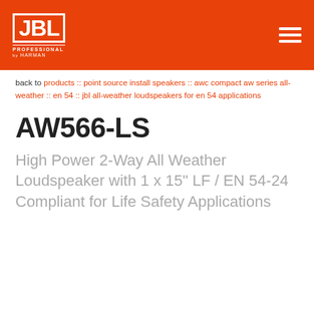[Figure (logo): JBL Professional by Harman logo in white on orange header background, with hamburger menu icon on the right]
back to products :: point source install speakers :: awc compact aw series all-weather :: en 54 :: jbl all-weather loudspeakers for en 54 applications
AW566-LS
High Power 2-Way All Weather Loudspeaker with 1 x 15" LF / EN 54-24 Compliant for Life Safety Applications